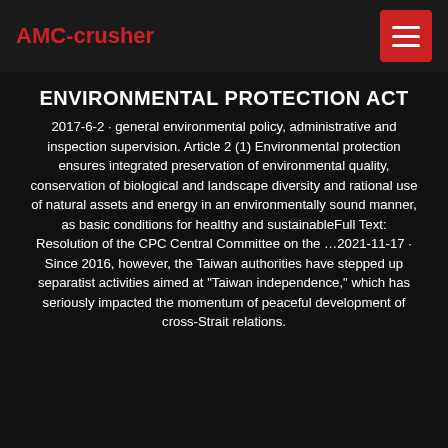AMC-crusher
ENVIRONMENTAL PROTECTION ACT
2017-6-2 · general environmental policy, administrative and inspection supervision. Article 2 (1) Environmental protection ensures integrated preservation of environmental quality, conservation of biological and landscape diversity and rational use of natural assets and energy in an environmentally sound manner, as basic conditions for healthy and sustainableFull Text: Resolution of the CPC Central Committee on the …2021-11-17 · Since 2016, however, the Taiwan authorities have stepped up separatist activities aimed at "Taiwan independence," which has seriously impacted the momentum of peaceful development of cross-Strait relations.